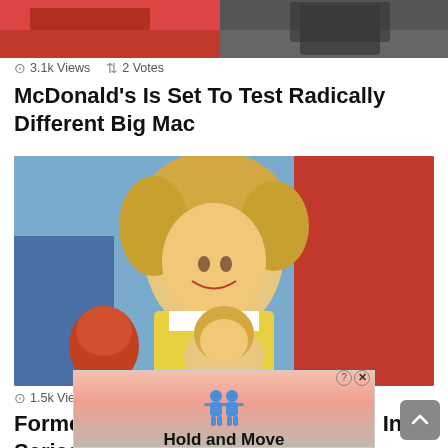[Figure (photo): Top cropped image showing red and dark background elements, partially visible]
⊙ 3.1k Views ⇅ 2 Votes
McDonald's Is Set To Test Radically Different Big Mac
[Figure (photo): Vintage color photo of a blonde woman smiling with children, one in foreground and person in red shirt behind]
⊙ 1.5k Views ● 1
Former 'Bewitched' Star Interested In Series Reboo…
[Figure (infographic): Ad overlay with pink/striped background showing two blue human figure icons and text 'Hold and Move', with close button (? X) in top right corner]